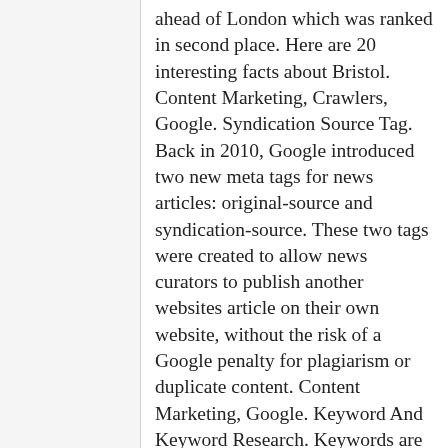ahead of London which was ranked in second place. Here are 20 interesting facts about Bristol. Content Marketing, Crawlers, Google. Syndication Source Tag. Back in 2010, Google introduced two new meta tags for news articles: original-source and syndication-source. These two tags were created to allow news curators to publish another websites article on their own website, without the risk of a Google penalty for plagiarism or duplicate content. Content Marketing, Google. Keyword And Keyword Research. Keywords are single words or phrases that you want search engines to associate with your site, so that when those keywords are entered in search by someone, your website is visible. Google is always evolving, their developers are creating more intuitive ways to show answers to